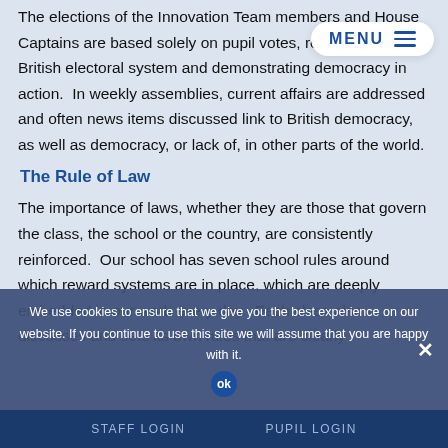The elections of the Innovation Team members and House Captains are based solely on pupil votes, reflecting our British electoral system and demonstrating democracy in action.  In weekly assemblies, current affairs are addressed and often news items discussed link to British democracy, as well as democracy, or lack of, in other parts of the world.
The Rule of Law
The importance of laws, whether they are those that govern the class, the school or the country, are consistently reinforced.  Our school has seven school rules around which reward systems are in place, which are deeply embedded in our work every day.  Each class also discusses and sets its own rules that are clearly
We use cookies to ensure that we give you the best experience on our website. If you continue to use this site we will assume that you are happy with it.
STAFF LOGIN   PUPIL LOGIN